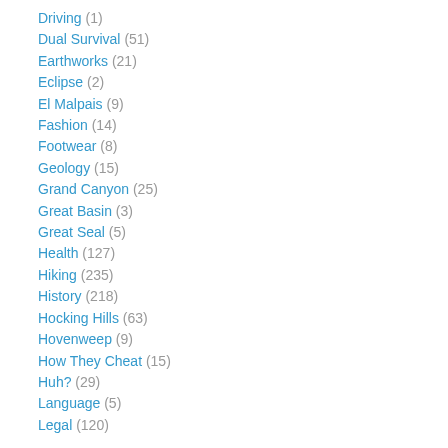Driving (1)
Dual Survival (51)
Earthworks (21)
Eclipse (2)
El Malpais (9)
Fashion (14)
Footwear (8)
Geology (15)
Grand Canyon (25)
Great Basin (3)
Great Seal (5)
Health (127)
Hiking (235)
History (218)
Hocking Hills (63)
Hovenweep (9)
How They Cheat (15)
Huh? (29)
Language (5)
Legal (120)